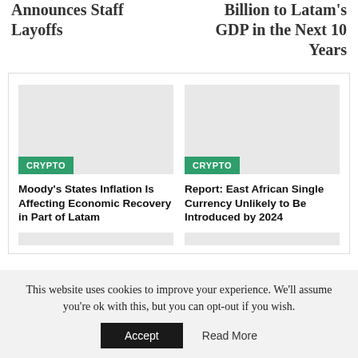Announces Staff Layoffs
Billion to Latam's GDP in the Next 10 Years
[Figure (photo): Gray placeholder image with CRYPTO badge for Moody's inflation article]
Moody's States Inflation Is Affecting Economic Recovery in Part of Latam
[Figure (photo): Gray placeholder image with CRYPTO badge for East African currency article]
Report: East African Single Currency Unlikely to Be Introduced by 2024
This website uses cookies to improve your experience. We'll assume you're ok with this, but you can opt-out if you wish.
Accept
Read More